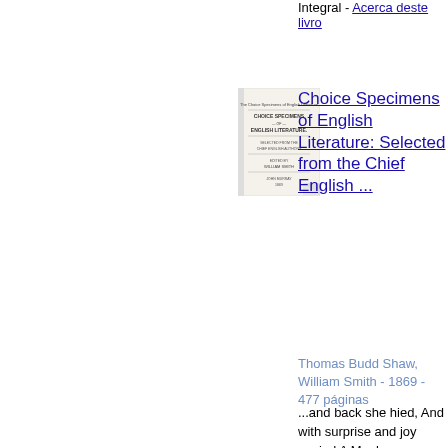Integral - Acerca deste livro
[Figure (illustration): Thumbnail image of the book cover for 'Choice Specimens of English Literature']
Choice Specimens of English Literature: Selected from the Chief English ...
Thomas Budd Shaw, William Smith - 1869 - 477 páginas
...and back she hied, And with surprise and joy espied A Monk supporting Marmion's head; A pious man, whom duty brought To dubious verge of battle fought, To shrive the dying, bless the dead. Deep drank Lord